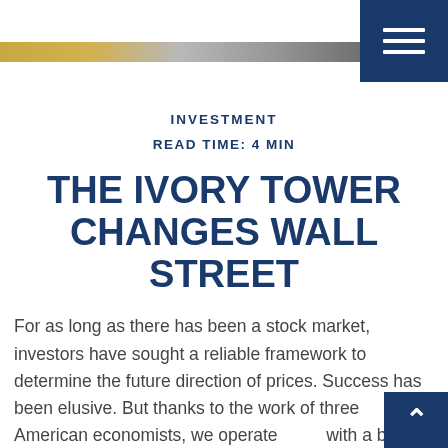[Figure (photo): Header image strip showing a financial/city scene with gold and grey tones, with a dark navy hamburger menu button in the top right corner]
INVESTMENT
READ TIME: 4 MIN
THE IVORY TOWER CHANGES WALL STREET
For as long as there has been a stock market, investors have sought a reliable framework to determine the future direction of prices. Success has been elusive. But thanks to the work of three American economists, we operate with a better understanding than prior generations of what determines an asset's price.